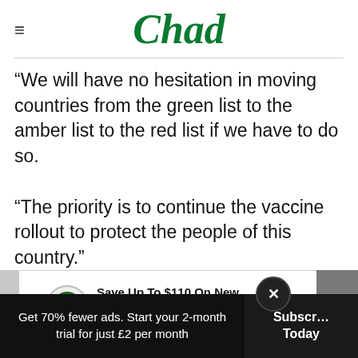Chad
“We will have no hesitation in moving countries from the green list to the amber list to the red list if we have to do so.

“The priority is to continue the vaccine rollout to protect the people of this country.”
Mr Johnson has insisted there is “nothing in the data” to justify stopping dome…
[Figure (other): Advertisement banner: Save Up To $110 On New Tires. VirginiaTire & Auto of Ashburn Fa.]
Get 70% fewer ads. Start your 2-month trial for just £2 per month   Subscribe Today